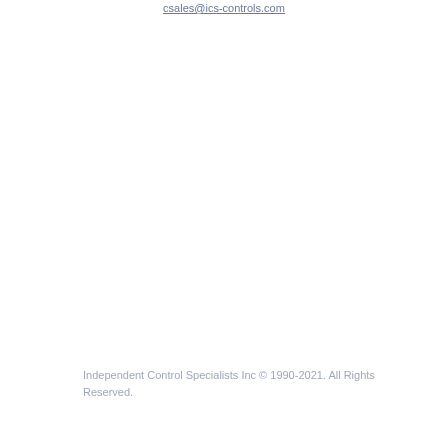csales@ics-controls.com
Independent Control Specialists Inc © 1990-2021. All Rights Reserved.